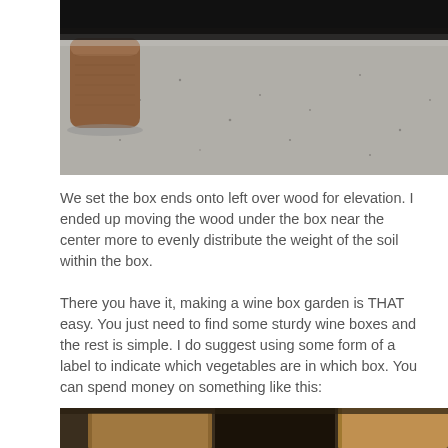[Figure (photo): A wooden block (rounded square cross-section) sitting on a grey concrete surface, viewed from a low angle. The background shows the grey textured floor receding into darkness.]
We set the box ends onto left over wood for elevation. I ended up moving the wood under the box near the center more to evenly distribute the weight of the soil within the box.
There you have it, making a wine box garden is THAT easy. You just need to find some sturdy wine boxes and the rest is simple. I do suggest using some form of a label to indicate which vegetables are in which box. You can spend money on something like this:
[Figure (photo): Bottom portion of a photo showing what appears to be wooden boxes or crates, partially cropped at the bottom of the page.]